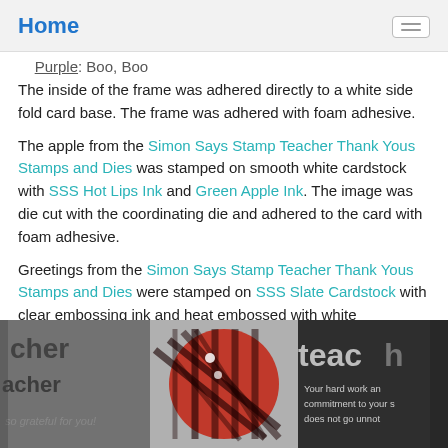Home
Purple: Boo, Boo
The inside of the frame was adhered directly to a white side fold card base. The frame was adhered with foam adhesive.
The apple from the Simon Says Stamp Teacher Thank Yous Stamps and Dies was stamped on smooth white cardstock with SSS Hot Lips Ink and Green Apple Ink. The image was die cut with the coordinating die and adhered to the card with foam adhesive.
Greetings from the Simon Says Stamp Teacher Thank Yous Stamps and Dies were stamped on SSS Slate Cardstock with clear embossing ink and heat embossed with white embossing powder. The greetings were die cut with the coordinating dies and adhered to the card with foam adhesive. Another phrase was stamped on Hero Arts Cherry Cardstock with clear embossing ink and heat embossed with white embossing powder. The phrase was die cut with a Simon Says Stamp Sentiment Labels Die and adhered to the card with foam adhesive.
[Figure (photo): Photo of stamped cards showing the words 'cher', 'teacher', 'teachi' on dark and red plaid backgrounds with text 'Your hard work and commitment to your... does not go unnot...']